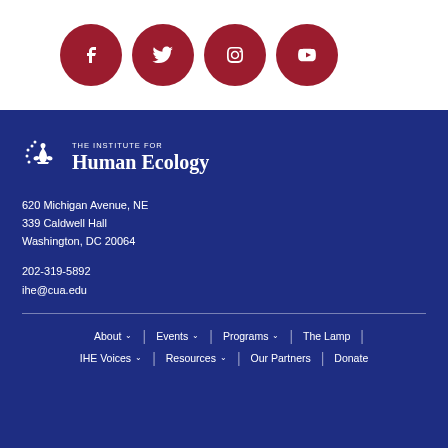[Figure (logo): Social media icons: Facebook, Twitter, Instagram, YouTube as dark red circles on white background]
[Figure (logo): Institute for Human Ecology logo with fleur-de-lis and star emblem on dark navy background]
620 Michigan Avenue, NE
339 Caldwell Hall
Washington, DC 20064
202-319-5892
ihe@cua.edu
About | Events | Programs | The Lamp | IHE Voices | Resources | Our Partners | Donate